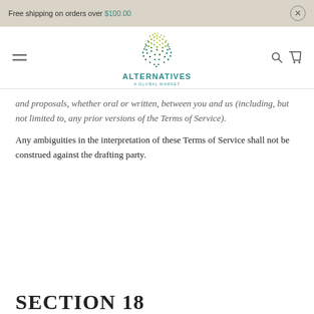Free shipping on orders over $100.00
[Figure (logo): Alternatives A Global Market logo — dotted globe in teal and yellow-green, with text 'ALTERNATIVES' and 'A GLOBAL MARKET']
and proposals, whether oral or written, between you and us (including, but not limited to, any prior versions of the Terms of Service).
Any ambiguities in the interpretation of these Terms of Service shall not be construed against the drafting party.
SECTION 18